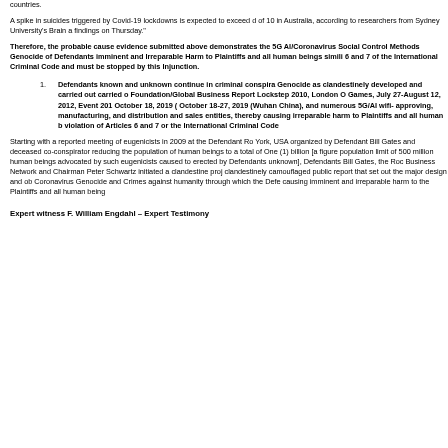countries.
A spike in suicides triggered by Covid-19 lockdowns is expected to exceed of 10 in Australia, according to researchers from Sydney University's Brain a findings on Thursday."
Therefore, the probable cause evidence submitted above demonstrates the 5G AI/Coronavirus Social Control Methods Genocide of Defendants imminent and Irreparable Harm to Plaintiffs and all human beings simil 6 and 7 of the International Criminal Code and must be stopped by this Injunction.
Defendants known and unknown continue in criminal conspira Genocide as clandestinely developed and carried out carried o Foundation/Global Business Report Lockstep 2010, London O Games, July 27-August 12, 2012, Event 201 October 18, 2019 ( October 18-27, 2019 (Wuhan China), and numerous 5G/AI wifi- approving, manufacturing, and distribution and sales entities, thereby causing irreparable harm to Plaintiffs and all human b violation of Articles 6 and 7 or the International Criminal Code
Starting with a reported meeting of eugenicists in 2009 at the Defendant Ro York, USA organized by Defendant Bill Gates and deceased co-conspirator reducing the population of human beings to a total of One (1) billion [a figure population limit of 500 million human beings advocated by such eugenicists caused to erected by Defendants unknown], Defendants Bill Gates, the Roc Business Network and Chairman Peter Schwartz initiated a clandestine proj clandestinely camouflaged public report that set out the major design and ob Coronavirus Genocide and Crimes against humanity through which the Defe causing imminent and irreparable harm to the Plaintiffs and all human being
Expert witness F. William Engdahl – Expert Testimony